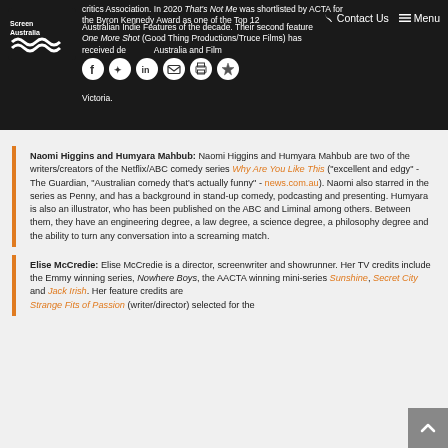Screen Australia website header with logo, Contact Us and Menu navigation
critics Association. In 2020 That's Not Me was shortlisted by ACTA for the Byron Kennedy Award as one of the Top 12 Australian Indie Features of the decade. Their second feature One More Shot (Good Thing Productions/Truce Films) has received development funding from Screen Australia and Film Victoria.
Naomi Higgins and Humyara Mahbub: Naomi Higgins and Humyara Mahbub are two of the writers/creators of the Netflix/ABC comedy series Why Are You Like This ("excellent and edgy" - The Guardian, "Australian comedy that's actually funny" - news.com.au). Naomi also starred in the series as Penny, and has a background in stand-up comedy, podcasting and presenting. Humyara is also an illustrator, who has been published on the ABC and Liminal among others. Between them, they have an engineering degree, a law degree, a science degree, a philosophy degree and the ability to turn any conversation into a screaming match.
Elise McCredie: Elise McCredie is a director, screenwriter and showrunner. Her TV credits include the Emmy winning series, Nowhere Boys, the AACTA winning mini-series Sunshine, Secret City and Jack Irish. Her feature credits are Strange Fits of Passion (writer/director) selected for the